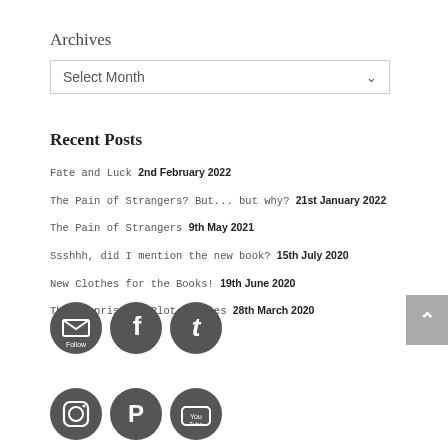Archives
Select Month
Recent Posts
Fate and Luck 2nd February 2022
The Pain of Strangers? But... but why? 21st January 2022
The Pain of Strangers 9th May 2021
Ssshhh, did I mention the new book? 15th July 2020
New Clothes for the Books! 19th June 2020
The Surprise of Plot Bunnies 28th March 2020
[Figure (infographic): Row of three dark grey social media icon circles: Follow (email), Facebook, Twitter]
[Figure (infographic): Row of three dark grey social media icon circles: Instagram, Pinterest, YouTube]